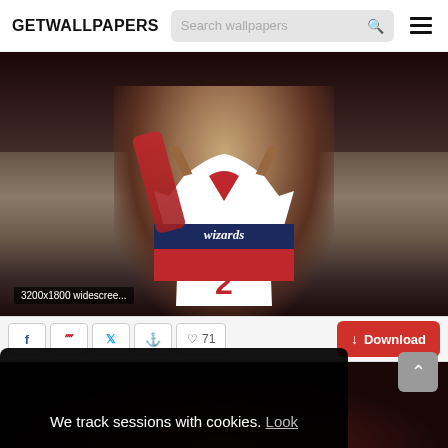GETWALLPAPERS | Search wallpapers
[Figure (photo): Washington Wizards basketball player wearing jersey number 2 with arms raised, crowd in background. Label shows '3200x1800 widescree...']
3200x1800 widescree...
♡ 71  ↓ Download
We track sessions with cookies. Look
Ok
[Figure (photo): Partial bottom strip showing basketball player]